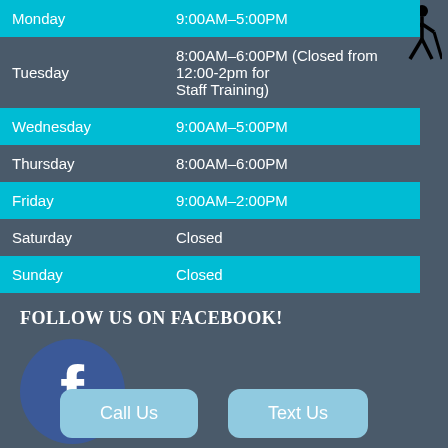| Day | Hours |
| --- | --- |
| Monday | 9:00AM–5:00PM |
| Tuesday | 8:00AM–6:00PM (Closed from 12:00-2pm for Staff Training) |
| Wednesday | 9:00AM–5:00PM |
| Thursday | 8:00AM–6:00PM |
| Friday | 9:00AM–2:00PM |
| Saturday | Closed |
| Sunday | Closed |
[Figure (illustration): Accessibility icon: silhouette of person walking with a cane]
FOLLOW US ON FACEBOOK!
[Figure (logo): Facebook logo: white 'f' on dark blue circle]
Call Us
Text Us